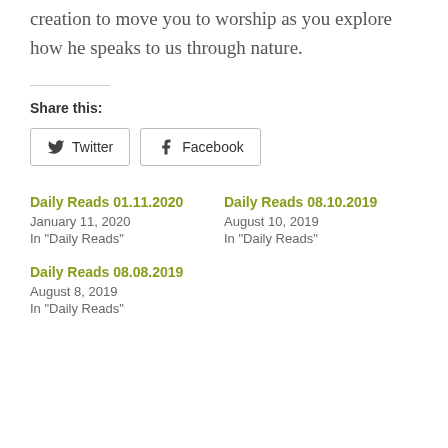creation to move you to worship as you explore how he speaks to us through nature.
Share this:
Twitter  Facebook
Daily Reads 01.11.2020
January 11, 2020
In "Daily Reads"
Daily Reads 08.10.2019
August 10, 2019
In "Daily Reads"
Daily Reads 08.08.2019
August 8, 2019
In "Daily Reads"